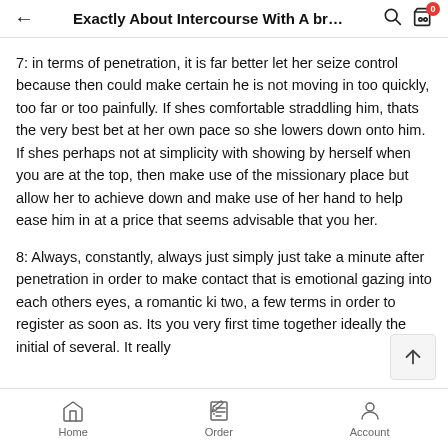Exactly About Intercourse With A br…
7: in terms of penetration, it is far better let her seize control because then could make certain he is not moving in too quickly, too far or too painfully. If shes comfortable straddling him, thats the very best bet at her own pace so she lowers down onto him. If shes perhaps not at simplicity with showing by herself when you are at the top, then make use of the missionary place but allow her to achieve down and make use of her hand to help ease him in at a price that seems advisable that you her.
8: Always, constantly, always just simply just take a minute after penetration in order to make contact that is emotional gazing into each others eyes, a romantic ki two, a few terms in order to register as soon as. Its you very first time together ideally the initial of several. It really
Home   Order   Account